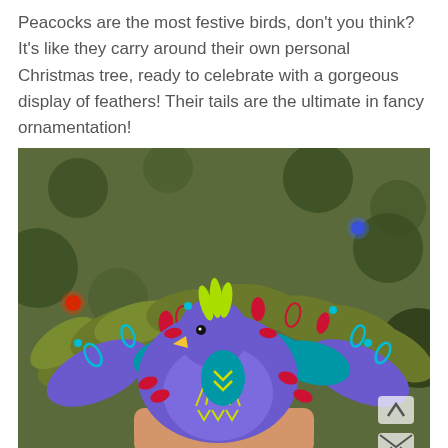Peacocks are the most festive birds, don't you think? It's like they carry around their own personal Christmas tree, ready to celebrate with a gorgeous display of feathers! Their tails are the ultimate in fancy ornamentation!
[Figure (photo): A handmade felt peacock ornament held in someone's hand in front of a decorated Christmas tree. The ornament is crafted from purple/blue felt with colorful embroidered feather details in green, teal, and red, with a yellow beak and a lime green feathered crest on top.]